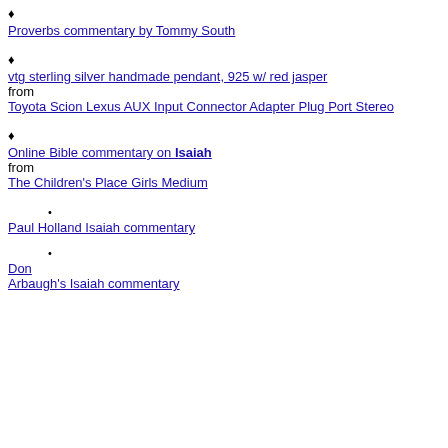Proverbs commentary by Tommy South
vtg sterling silver handmade pendant, 925 w/ red jasper
from
Toyota Scion Lexus AUX Input Connector Adapter Plug Port Stereo
Online Bible commentary on Isaiah
from
The Children's Place Girls Medium
Paul Holland Isaiah commentary
Don Arbaugh's Isaiah commentary